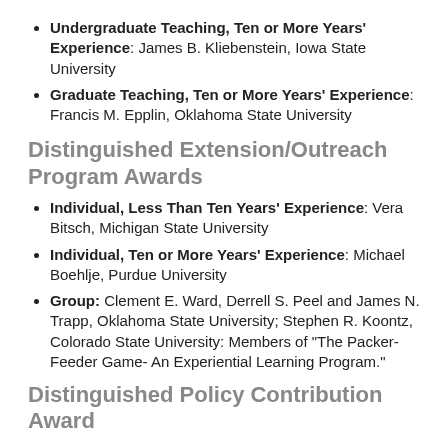Undergraduate Teaching, Ten or More Years' Experience: James B. Kliebenstein, Iowa State University
Graduate Teaching, Ten or More Years' Experience: Francis M. Epplin, Oklahoma State University
Distinguished Extension/Outreach Program Awards
Individual, Less Than Ten Years' Experience: Vera Bitsch, Michigan State University
Individual, Ten or More Years' Experience: Michael Boehlje, Purdue University
Group: Clement E. Ward, Derrell S. Peel and James N. Trapp, Oklahoma State University; Stephen R. Koontz, Colorado State University: Members of "The Packer-Feeder Game- An Experiential Learning Program."
Distinguished Policy Contribution Award